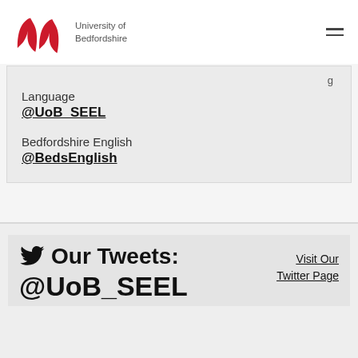[Figure (logo): University of Bedfordshire logo: red leaf/wing shapes with text 'University of Bedfordshire']
Language
@UoB_SEEL

Bedfordshire English
@BedsEnglish
Our Tweets:
@UoB_SEEL
Visit Our Twitter Page